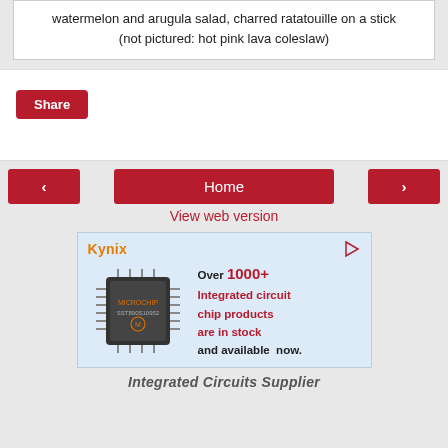watermelon and arugula salad, charred ratatouille on a stick (not pictured: hot pink lava coleslaw)
[Figure (screenshot): Social share section with a red Share button]
[Figure (screenshot): Navigation bar with left arrow, Home button, and right arrow, plus View web version link]
[Figure (infographic): Kynix advertisement: Over 1000+ Integrated circuit chip products are in stock and available now, with a Microchip branded IC chip image]
Integrated Circuits Supplier